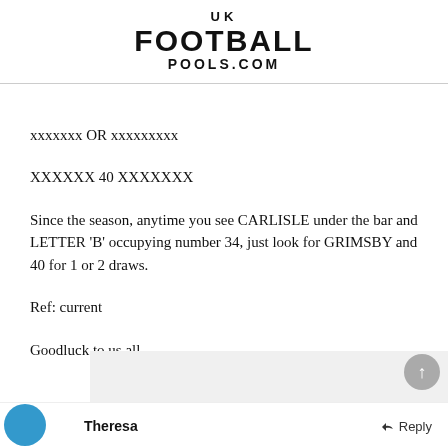UK FOOTBALL POOLS.COM
xxxxxxx OR xxxxxxxxx
XXXXXX 40 XXXXXXX
Since the season, anytime you see CARLISLE under the bar and LETTER 'B' occupying number 34, just look for GRIMSBY and 40 for 1 or 2 draws.
Ref: current
Goodluck to us all.
Theresa
Reply